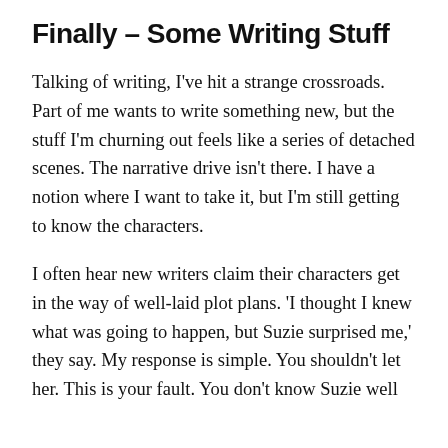Finally – Some Writing Stuff
Talking of writing, I've hit a strange crossroads. Part of me wants to write something new, but the stuff I'm churning out feels like a series of detached scenes. The narrative drive isn't there. I have a notion where I want to take it, but I'm still getting to know the characters.
I often hear new writers claim their characters get in the way of well-laid plot plans. 'I thought I knew what was going to happen, but Suzie surprised me,' they say. My response is simple. You shouldn't let her. This is your fault. You don't know Suzie well